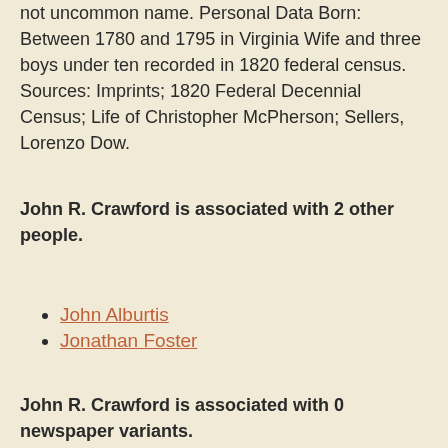not uncommon name. Personal Data Born: Between 1780 and 1795 in Virginia Wife and three boys under ten recorded in 1820 federal census. Sources: Imprints; 1820 Federal Decennial Census; Life of Christopher McPherson; Sellers, Lorenzo Dow.
John R. Crawford is associated with 2 other people.
John Alburtis
Jonathan Foster
John R. Crawford is associated with 0 newspaper variants.